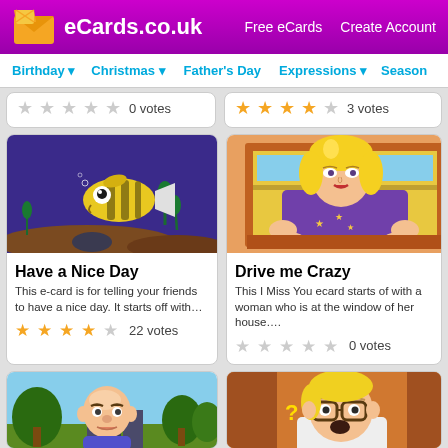eCards.co.uk | Free eCards | Create Account
Birthday | Christmas | Father's Day | Expressions | Season
0 votes
3 votes
[Figure (illustration): Animated e-card showing a cartoon fish underwater with blue/purple background]
Have a Nice Day
This e-card is for telling your friends to have a nice day. It starts off with….
22 votes
[Figure (illustration): Animated e-card showing a blonde woman leaning on a window frame]
Drive me Crazy
This I Miss You ecard starts of with a woman who is at the window of her house….
0 votes
[Figure (illustration): Partially visible e-card with cartoon character in outdoor scene]
[Figure (illustration): Partially visible e-card with cartoon character with glasses]